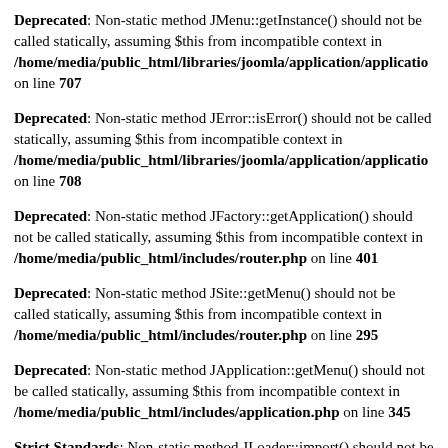Deprecated: Non-static method JMenu::getInstance() should not be called statically, assuming $this from incompatible context in /home/media/public_html/libraries/joomla/application/application on line 707
Deprecated: Non-static method JError::isError() should not be called statically, assuming $this from incompatible context in /home/media/public_html/libraries/joomla/application/application on line 708
Deprecated: Non-static method JFactory::getApplication() should not be called statically, assuming $this from incompatible context in /home/media/public_html/includes/router.php on line 401
Deprecated: Non-static method JSite::getMenu() should not be called statically, assuming $this from incompatible context in /home/media/public_html/includes/router.php on line 295
Deprecated: Non-static method JApplication::getMenu() should not be called statically, assuming $this from incompatible context in /home/media/public_html/includes/application.php on line 345
Strict Standards: Non-static method JLoader::import() should not be called statically in